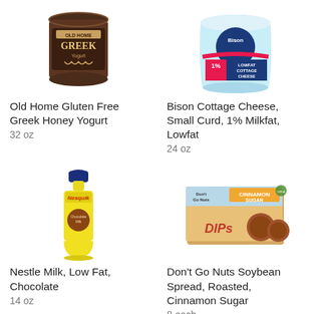[Figure (photo): Old Home Gluten Free Greek Honey Yogurt container, brown/chocolate colored tub]
[Figure (photo): Bison 1% Lowfat Cottage Cheese container, blue and pink tub]
Old Home Gluten Free Greek Honey Yogurt
32 oz
Bison Cottage Cheese, Small Curd, 1% Milkfat, Lowfat
24 oz
[Figure (photo): Nestle Nesquik Chocolate Milk yellow bottle]
[Figure (photo): Don't Go Nuts Soybean Spread Roasted Cinnamon Sugar DIPs box]
Nestle Milk, Low Fat, Chocolate
14 oz
Don't Go Nuts Soybean Spread, Roasted, Cinnamon Sugar
8 each
[Figure (photo): Partial view of another product at bottom of page]